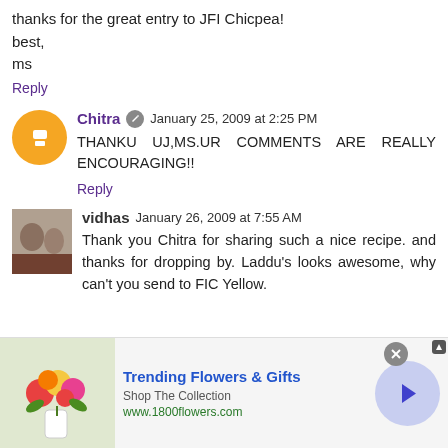thanks for the great entry to JFI Chicpea!
best,
ms
Reply
Chitra  January 25, 2009 at 2:25 PM
THANKU UJ,MS.UR COMMENTS ARE REALLY ENCOURAGING!!
Reply
vidhas  January 26, 2009 at 7:55 AM
Thank you Chitra for sharing such a nice recipe. and thanks for dropping by. Laddu's looks awesome, why can't you send to FIC Yellow.
[Figure (infographic): Advertisement banner for 1800flowers.com showing flower bouquet image, Trending Flowers & Gifts text, Shop The Collection, www.1800flowers.com URL, and a right-arrow navigation button]